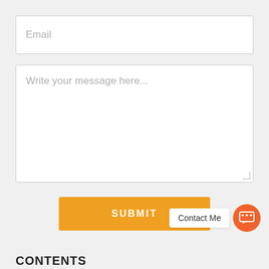Email
Write your message here...
SUBMIT
Contact Me
CONTENTS